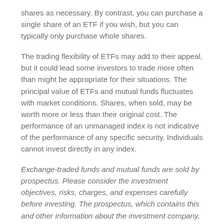shares as necessary. By contrast, you can purchase a single share of an ETF if you wish, but you can typically only purchase whole shares.
The trading flexibility of ETFs may add to their appeal, but it could lead some investors to trade more often than might be appropriate for their situations. The principal value of ETFs and mutual funds fluctuates with market conditions. Shares, when sold, may be worth more or less than their original cost. The performance of an unmanaged index is not indicative of the performance of any specific security. Individuals cannot invest directly in any index.
Exchange-traded funds and mutual funds are sold by prospectus. Please consider the investment objectives, risks, charges, and expenses carefully before investing. The prospectus, which contains this and other information about the investment company, can be obtained from your financial